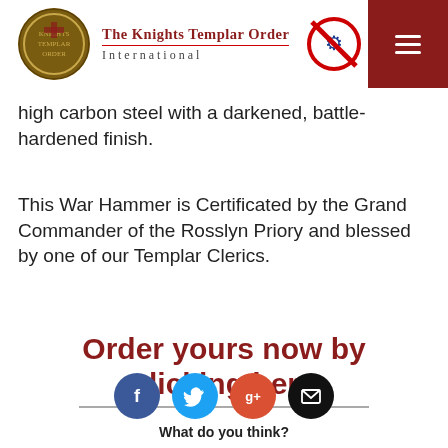The Knights Templar Order International
high carbon steel with a darkened, battle-hardened finish.
This War Hammer is Certificated by the Grand Commander of the Rosslyn Priory and blessed by one of our Templar Clerics.
Order yours now by clicking here
[Figure (infographic): Social sharing icons: Facebook (blue circle), Twitter (cyan circle), Google+ (orange-red circle), Email (black circle), with label 'What do you think?' below]